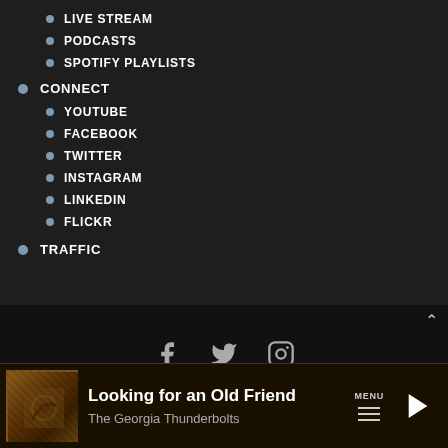LIVE STREAM
PODCASTS
SPOTIFY PLAYLISTS
CONNECT
YOUTUBE
FACEBOOK
TWITTER
INSTAGRAM
LINKEDIN
FLICKR
TRAFFIC
[Figure (infographic): Social media icons: Facebook, Twitter, Instagram]
COPYRIGHT® 2021, SARKES TARZIAN INC.
Looking for an Old Friend
The Georgia Thunderbolts